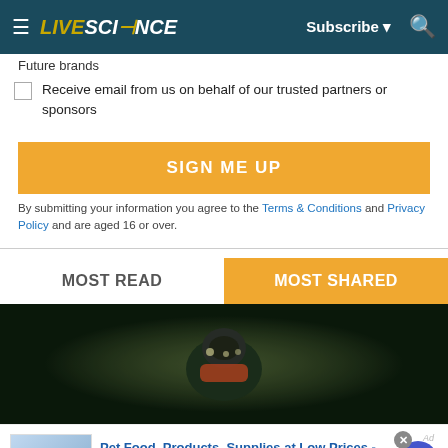LIVESCIENCE — Subscribe — Search
Future brands
Receive email from us on behalf of our trusted partners or sponsors
SIGN ME UP
By submitting your information you agree to the Terms & Conditions and Privacy Policy and are aged 16 or over.
MOST READ
MOST SHARED
[Figure (photo): Diver underwater in dark water with equipment and lights]
Pet Food, Products, Supplies at Low Prices - Pay the lowest prices on pet supplies at Chewy.com chewy.com